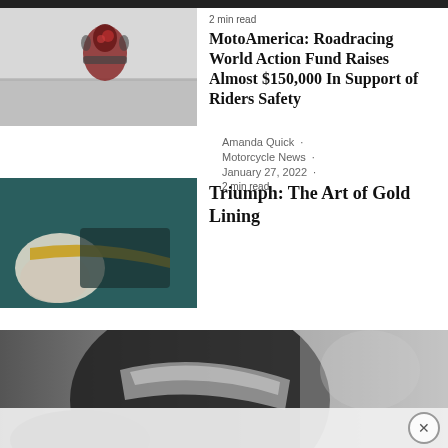[Figure (photo): Motorcycle racer on track, partial view from above]
2 min read
MotoAmerica: Roadracing World Action Fund Raises Almost $150,000 In Support of Riders Safety
Amanda Quick ·
Motorcycle News ·
January 27, 2022 ·
2 min read
[Figure (photo): Close-up of gold lining being applied to a dark motorcycle part]
Triumph: The Art of Gold Lining
[Figure (photo): Black and white close-up of a motorcycle helmet with visor, rider wearing black gloves]